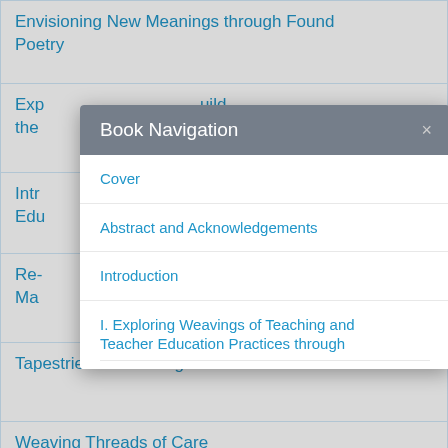Envisioning New Meanings through Found Poetry
Exp... ...uild the...
Intr... Edu...
Re- Ma...
Tapestries of Teaching
Weaving Threads of Care
[Figure (screenshot): Book Navigation modal dialog with close button (×), showing navigation links: Cover, Abstract and Acknowledgements, Introduction, I. Exploring Weavings of Teaching and Teacher Education Practices through (cut off)]